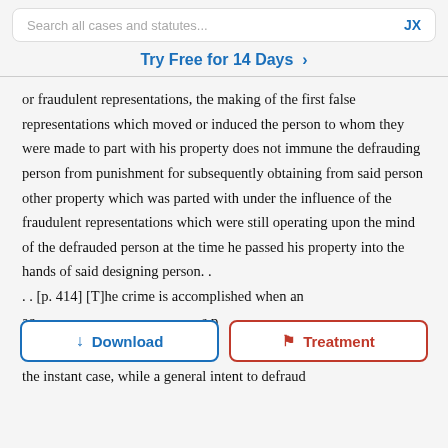Search all cases and statutes...  JX
Try Free for 14 Days >
or fraudulent representations, the making of the first false representations which moved or induced the person to whom they were made to part with his property does not immune the defrauding person from punishment for subsequently obtaining from said person other property which was parted with under the influence of the fraudulent representations which were still operating upon the mind of the defrauded person at the time he passed his property into the hands of said designing person. . . . [p. 414] [T]he crime is accomplished when an ac[tion occurs] s p[assing] wh[ich results] fr[aud] . . . the instant case, while a general intent to defraud